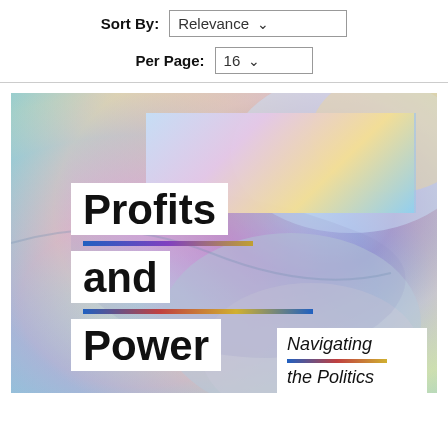Sort By: Relevance
Per Page: 16
[Figure (illustration): Book cover for 'Profits and Power: Navigating the Politics' — colorful iridescent abstract background with white panels overlaid showing bold black title text 'Profits and Power' and italic subtitle 'Navigating the Politics']